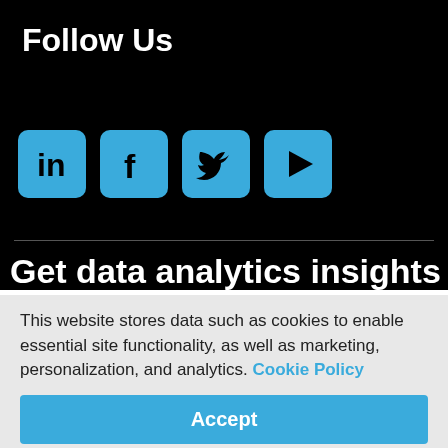Follow Us
[Figure (illustration): Four social media icons: LinkedIn, Facebook, Twitter, YouTube in blue rounded square buttons]
Get data analytics insights straight to
This website stores data such as cookies to enable essential site functionality, as well as marketing, personalization, and analytics. Cookie Policy
Accept
Deny